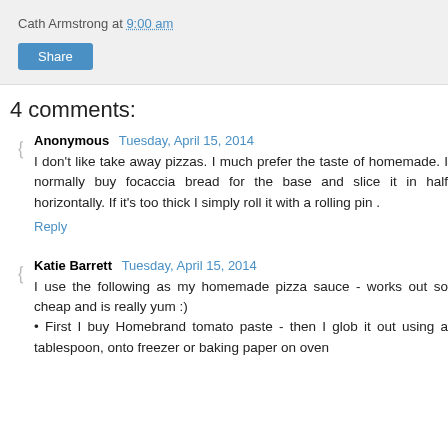Cath Armstrong at 9:00 am
Share
4 comments:
Anonymous  Tuesday, April 15, 2014
I don't like take away pizzas. I much prefer the taste of homemade. I normally buy focaccia bread for the base and slice it in half horizontally. If it's too thick I simply roll it with a rolling pin .
Reply
Katie Barrett  Tuesday, April 15, 2014
I use the following as my homemade pizza sauce - works out so cheap and is really yum :)
• First I buy Homebrand tomato paste - then I glob it out using a tablespoon, onto freezer or baking paper on oven